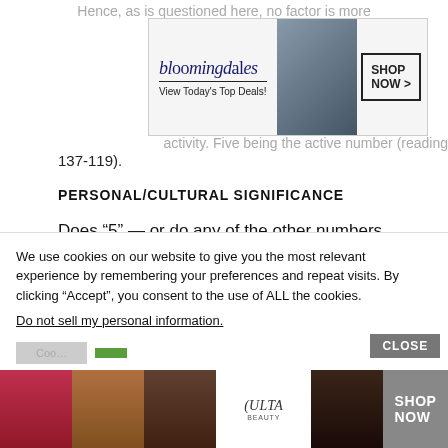Hence, as is questioned here, no factor is more
[Figure (screenshot): Bloomingdale's advertisement banner: logo, 'View Today's Top Deals!', model in hat, 'SHOP NOW >' button]
activity. Five being the active number (reading 137-119).
PERSONAL/CULTURAL SIGNIFICANCE
Does “5” — or do any of the other numbers above (e.g., 23, 50, 77, 131) — have any special significance to you?
[Figure (screenshot): Cookie consent popup with text: We use cookies on our website to give you the most relevant experience by remembering your preferences and repeat visits. By clicking “Accept”, you consent to the use of ALL the cookies. Do not sell my personal information. With buttons and a CLOSE button.]
[Figure (screenshot): ULTA beauty advertisement strip showing makeup product images and a SHOP NOW call to action]